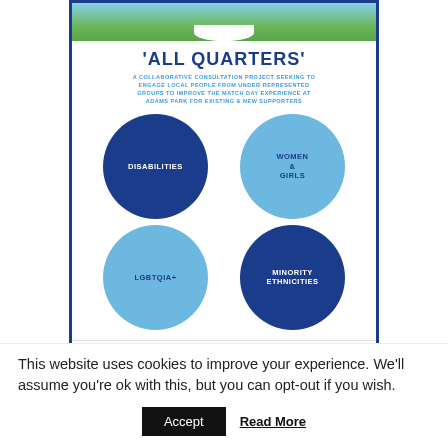[Figure (infographic): All Quarters poster: a collaborative consultation project with four circles representing Disabilities, Women & Girls, LGBTQIA+, and Minority Ethnicities, with a stadium photo header and footer logos.]
This website uses cookies to improve your experience. We'll assume you're ok with this, but you can opt-out if you wish.
Accept  Read More